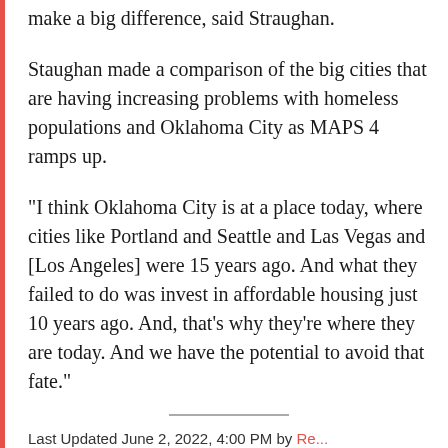make a big difference, said Straughan.
Staughan made a comparison of the big cities that are having increasing problems with homeless populations and Oklahoma City as MAPS 4 ramps up.
“I think Oklahoma City is at a place today, where cities like Portland and Seattle and Las Vegas and [Los Angeles] were 15 years ago. And what they failed to do was invest in affordable housing just 10 years ago. And, that’s why they’re where they are today. And we have the potential to avoid that fate.”
Last Updated June 2, 2022, 4:00 PM by Re...